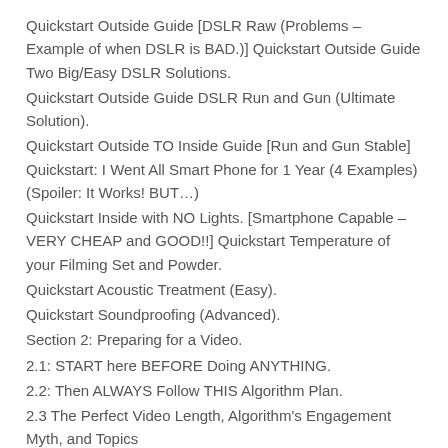Quickstart Outside Guide [DSLR Raw (Problems – Example of when DSLR is BAD.)] Quickstart Outside Guide Two Big/Easy DSLR Solutions.
Quickstart Outside Guide DSLR Run and Gun (Ultimate Solution).
Quickstart Outside TO Inside Guide [Run and Gun Stable] Quickstart: I Went All Smart Phone for 1 Year (4 Examples) (Spoiler: It Works! BUT…)
Quickstart Inside with NO Lights. [Smartphone Capable – VERY CHEAP and GOOD!!] Quickstart Temperature of your Filming Set and Powder.
Quickstart Acoustic Treatment (Easy).
Quickstart Soundproofing (Advanced).
Section 2: Preparing for a Video.
2.1: START here BEFORE Doing ANYTHING.
2.2: Then ALWAYS Follow THIS Algorithm Plan.
2.3 The Perfect Video Length, Algorithm's Engagement Myth, and Topics
2.4: Highest Paid Sectors on Youtube.